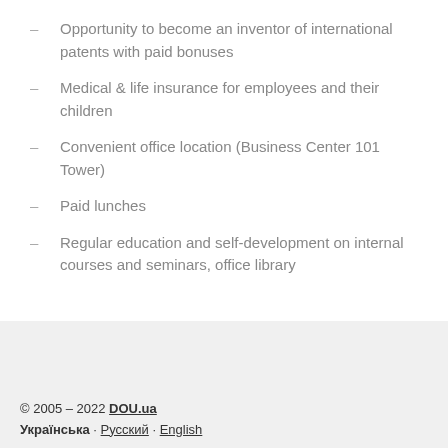Opportunity to become an inventor of international patents with paid bonuses
Medical & life insurance for employees and their children
Convenient office location (Business Center 101 Tower)
Paid lunches
Regular education and self-development on internal courses and seminars, office library
© 2005 – 2022 DOU.ua
Українська · Русский · English
Ми в соцмережах: [social icons]
Контакти · Реклама · Legal